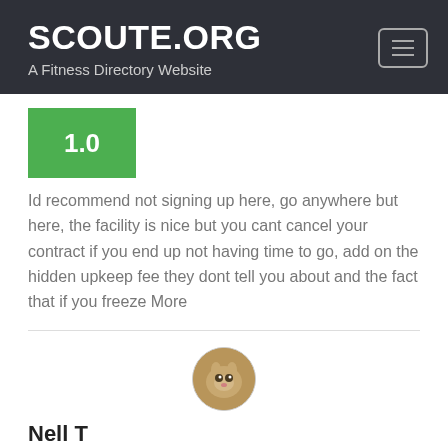SCOUTE.ORG – A Fitness Directory Website
1.0
Id recommend not signing up here, go anywhere but here, the facility is nice but you cant cancel your contract if you end up not having time to go, add on the hidden upkeep fee they dont tell you about and the fact that if you freeze More
[Figure (photo): Circular avatar photo of a cat]
Nell T
a year ago
5.0